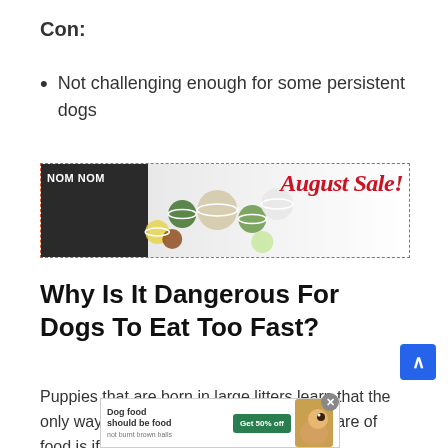Con:
Not challenging enough for some persistent dogs
[Figure (other): NOM NOM August Sale! advertisement banner showing various food bowls on a white background with dashed red-orange border]
Why Is It Dangerous For Dogs To Eat Too Fast?
Puppies that are born in large litters learn that the only way they are going to get their fair share of food is if they...
[Figure (other): Dog food advertisement banner at bottom: 'Dog food should be food (not burnt brown balls)' with Get 50% off button and dog image]